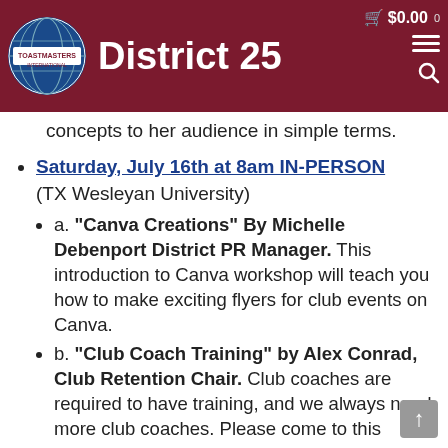Toastmasters International District 25 — $0.00 cart
concepts to her audience in simple terms.
Saturday, July 16th at 8am IN-PERSON (TX Wesleyan University)
a. "Canva Creations" By Michelle Debenport District PR Manager. This introduction to Canva workshop will teach you how to make exciting flyers for club events on Canva.
b. "Club Coach Training" by Alex Conrad, Club Retention Chair. Club coaches are required to have training, and we always need more club coaches. Please come to this